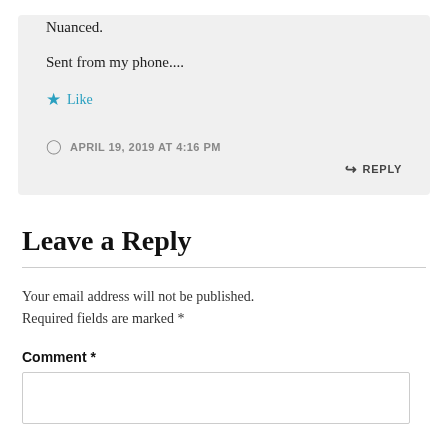Nuanced.
Sent from my phone....
★ Like
APRIL 19, 2019 AT 4:16 PM
↳ REPLY
Leave a Reply
Your email address will not be published. Required fields are marked *
Comment *